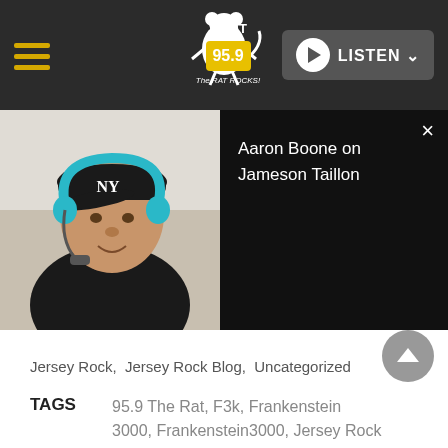WRAT 95.9 The RAT ROCKS! — LISTEN
[Figure (screenshot): Radio station website header with hamburger menu, WRAT 95.9 The Rat Rocks logo, and Listen button]
[Figure (photo): Aaron Boone wearing a New York Yankees cap with a teal headset, speaking. Black video panel beside shows title 'Aaron Boone on Jameson Taillon' with close button.]
Jersey Rock, Jersey Rock Blog, Uncategorized
TAGS  95.9 The Rat, F3k, Frankenstein 3000, Frankenstein3000, Jersey Rock Band Of The Week, WRAT